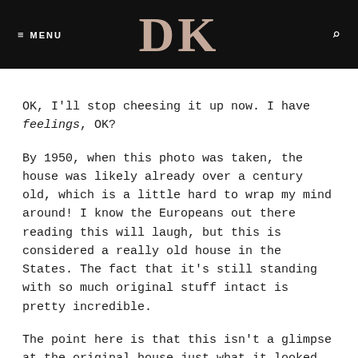≡ MENU  DK  🔍
OK, I'll stop cheesing it up now. I have feelings, OK?
By 1950, when this photo was taken, the house was likely already over a century old, which is a little hard to wrap my mind around! I know the Europeans out there reading this will laugh, but this is considered a really old house in the States. The fact that it's still standing with so much original stuff intact is pretty incredible.
The point here is that this isn't a glimpse at the original house—just what it looked like 64 years ago. Still, lots of stuff happened in that amount of time. Since the photo was taken, the house had two subsequent owners, and then me. The owner during this period had already split the house into